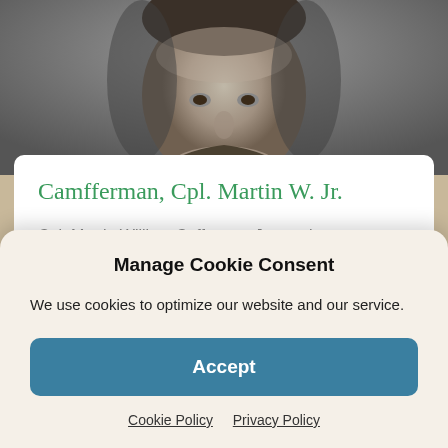[Figure (photo): Black and white portrait photograph of a man in military uniform, showing face and upper chest area, cropped at top and sides]
Camfferman, Cpl. Martin W. Jr.
Cpl. Martin William Cafferman Jr. was born on November 22, 1920, to Martin W. Camfferman Sr. and Clasine Godee-Canfferman. He was the youngest of the
Manage Cookie Consent
We use cookies to optimize our website and our service.
Accept
Cookie Policy   Privacy Policy